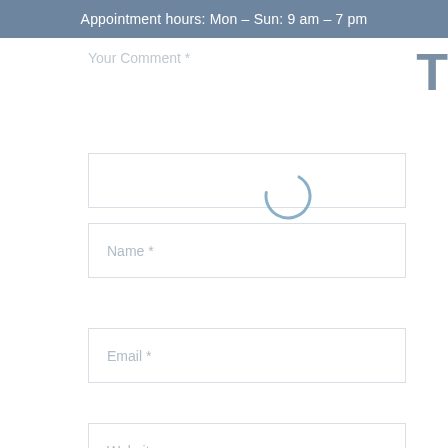Appointment hours: Mon – Sun: 9 am – 7 pm
Your Comment *
[Figure (other): Loading spinner — a partial circle arc in light blue indicating content is loading]
Name *
Email *
Website